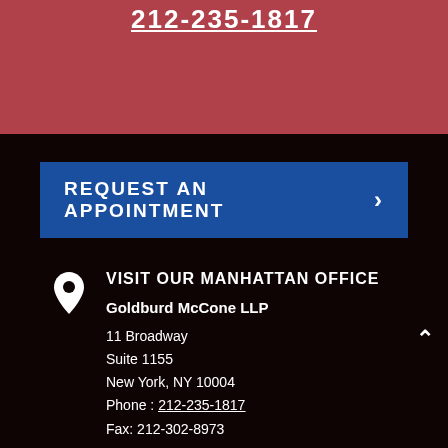212-235-1817
REQUEST AN APPOINTMENT
VISIT OUR MANHATTAN OFFICE
Goldburd McCone LLP
11 Broadway
Suite 1155
New York, NY 10004
Phone : 212-235-1817
Fax: 212-302-8973